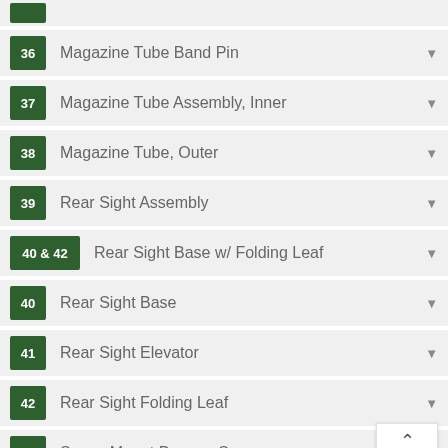36 Magazine Tube Band Pin
37 Magazine Tube Assembly, Inner
38 Magazine Tube, Outer
39 Rear Sight Assembly
40 & 42 Rear Sight Base w/ Folding Leaf
40 Rear Sight Base
41 Rear Sight Elevator
42 Rear Sight Folding Leaf
44 Scope Mount Dummy Screw
45 Sear Spring